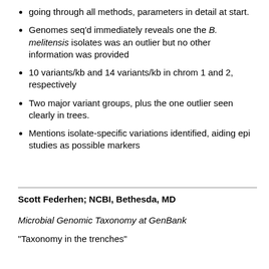going through all methods, parameters in detail at start.
Genomes seq'd immediately reveals one the B. melitensis isolates was an outlier but no other information was provided
10 variants/kb and 14 variants/kb in chrom 1 and 2, respectively
Two major variant groups, plus the one outlier seen clearly in trees.
Mentions isolate-specific variations identified, aiding epi studies as possible markers
Scott Federhen; NCBI, Bethesda, MD
Microbial Genomic Taxonomy at GenBank
"Taxonomy in the trenches"